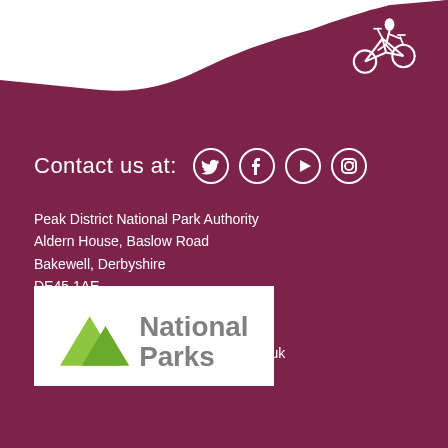[Figure (illustration): Silhouette of a mountain biker at the top of a hill against a dark red/maroon background with white hilltop]
Contact us at:
[Figure (infographic): Social media icons: Twitter, Facebook, YouTube/Play, Instagram]
Peak District National Park Authority
Aldern House, Baslow Road
Bakewell, Derbyshire
DE45 1AE
T: +44(0)1629 816200
F: +44(0)1629 816310
E: customer.service@peakdistrict.gov.uk
[Figure (logo): National Parks logo with green mountain triangle and grey text reading 'National Parks']